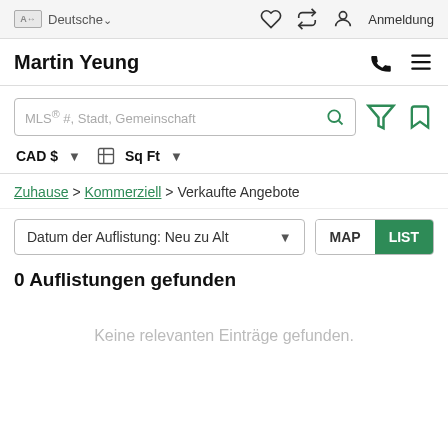Deutschev  Anmeldung
Martin Yeung
MLS® #, Stadt, Gemeinschaft
CAD $▾  Sq Ft ▾
Zuhause > Kommerziell > Verkaufte Angebote
Datum der Auflistung: Neu zu Alt  MAP  LIST
0 Auflistungen gefunden
Keine relevanten Einträge gefunden.